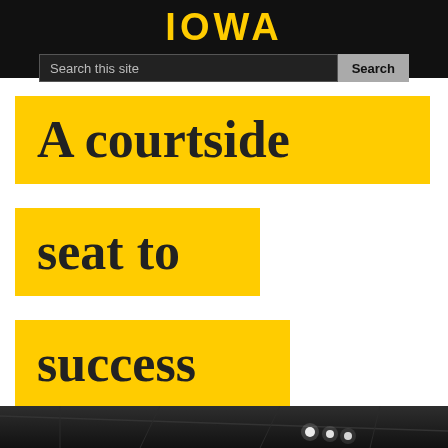IOWA
Search this site
A courtside seat to success
[Figure (photo): Dark interior photo of an arena ceiling with lights visible at the bottom of the page]